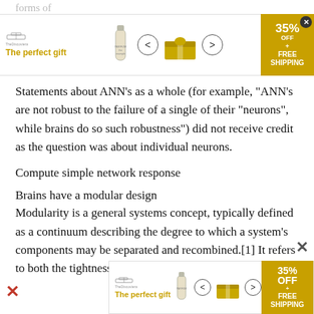[Figure (other): Advertisement banner for 'The perfect gift' with gift box image, navigation arrows, and 35% off free shipping promo badge]
Statements about ANN's as a whole (for example, "ANN's are not robust to the failure of a single of their "neurons", while brains do so such robustness") did not receive credit as the question was about individual neurons.
Compute simple network response
Brains have a modular design
Modularity is a general systems concept, typically defined as a continuum describing the degree to which a system's components may be separated and recombined.[1] It refers to both the tightness of coupling between components, and
[Figure (other): Advertisement banner for 'The perfect gift' with gift box image, navigation arrows, and 35% off free shipping promo badge (bottom)]